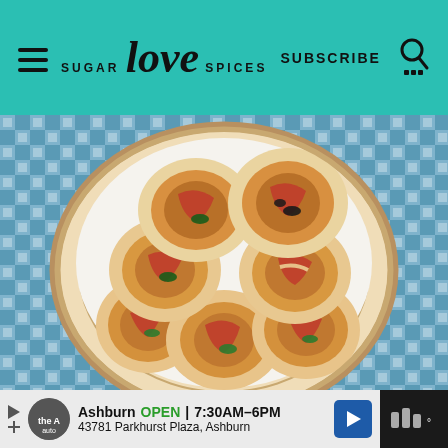SUGAR love SPICES | SUBSCRIBE
[Figure (photo): A wicker basket lined with white paper containing multiple savory pinwheel rolls topped with tomato sauce, cheese, olives, and herbs, placed on a blue and white checkered tablecloth]
Ashburn OPEN 7:30AM–6PM 43781 Parkhurst Plaza, Ashburn